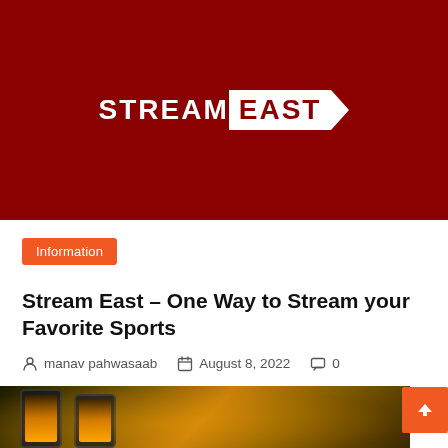[Figure (logo): StreamEast logo — white text 'STREAM' followed by white box with dark red 'EAST' text and a chevron arrow, on a dark red background]
Information
Stream East – One Way to Stream your Favorite Sports
manav pahwasaab   August 8, 2022   0
[Figure (photo): Bottom strip showing smartphones with orange/yellow glowing screens on a dark background]